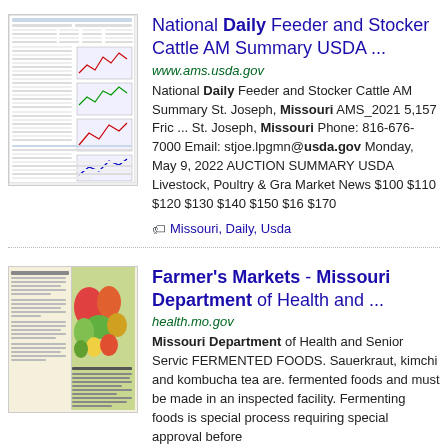[Figure (screenshot): Thumbnail of a USDA cattle market summary document showing tables and line charts]
National Daily Feeder and Stocker Cattle AM Summary USDA ...
www.ams.usda.gov
National Daily Feeder and Stocker Cattle AM Summary St. Joseph, Missouri AMS_2021 5,157 Frid... St. Joseph, Missouri Phone: 816-676-7000 Email: stjoe.lpgmn@usda.gov Monday, May 9, 2022 AUCTION SUMMARY USDA Livestock, Poultry & Gra Market News $100 $110 $120 $130 $140 $150 $16 $170
Missouri, Daily, Usda
[Figure (photo): Thumbnail of a Missouri Department of Health farmer's markets brochure showing vegetables]
Farmer's Markets - Missouri Department of Health and ...
health.mo.gov
Missouri Department of Health and Senior Servic FERMENTED FOODS. Sauerkraut, kimchi and kombucha tea are. fermented foods and must be made in an inspected facility. Fermenting foods is special process requiring special approval before